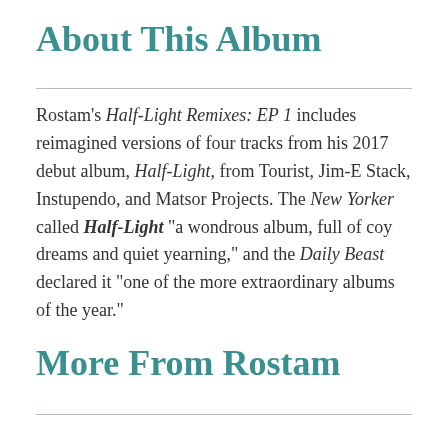About This Album
Rostam's Half-Light Remixes: EP 1 includes reimagined versions of four tracks from his 2017 debut album, Half-Light, from Tourist, Jim-E Stack, Instupendo, and Matsor Projects. The New Yorker called Half-Light "a wondrous album, full of coy dreams and quiet yearning," and the Daily Beast declared it "one of the more extraordinary albums of the year."
More From Rostam